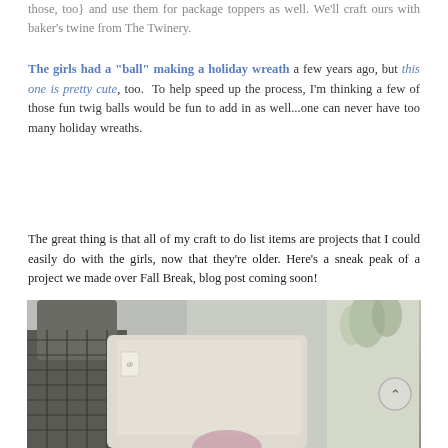those, too} and use them for package toppers as well. We'll craft ours with baker's twine from The Twinery.
The girls had a "ball" making a holiday wreath a few years ago, but this one is pretty cute, too.  To help speed up the process, I'm thinking a few of those fun twig balls would be fun to add in as well...one can never have too many holiday wreaths.
The great thing is that all of my craft to do list items are projects that I could easily do with the girls, now that they're older. Here's a sneak peak of a project we made over Fall Break, blog post coming soon!
[Figure (photo): Outdoor patio scene with wicker chair and cream/beige cushions, brick wall in background, plants visible, someone partially visible at bottom.]